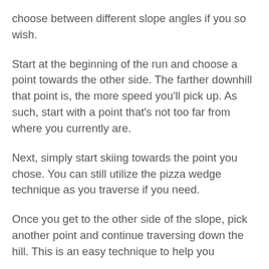choose between different slope angles if you so wish.
Start at the beginning of the run and choose a point towards the other side. The farther downhill that point is, the more speed you'll pick up. As such, start with a point that's not too far from where you currently are.
Next, simply start skiing towards the point you chose. You can still utilize the pizza wedge technique as you traverse if you need.
Once you get to the other side of the slope, pick another point and continue traversing down the hill. This is an easy technique to help you